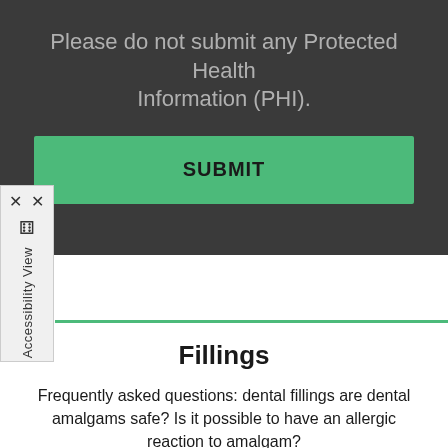Please do not submit any Protected Health Information (PHI).
[Figure (screenshot): Green SUBMIT button on dark background]
[Figure (screenshot): Accessibility View sidebar with X close button and person icon]
Fillings
Frequently asked questions: dental fillings are dental amalgams safe? Is it possible to have an allergic reaction to amalgam?
[Figure (screenshot): Green Learn More button]